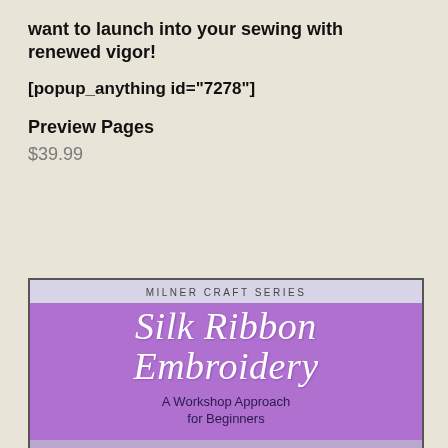want to launch into your sewing with renewed vigor!
[popup_anything id="7278"]
Preview Pages
$39.99
[Figure (photo): Book cover for 'Silk Ribbon Embroidery: A Workshop Approach for Beginners' from the Milner Craft Series. Purple cover with white italic script title and dark subtitle text.]